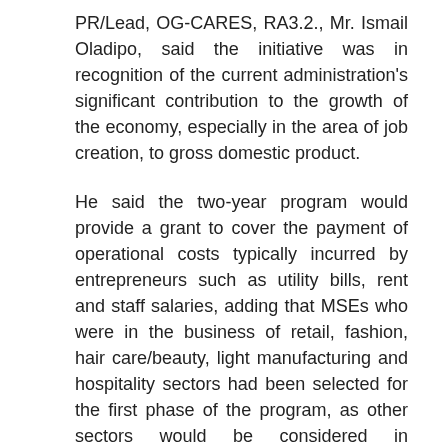PR/Lead, OG-CARES, RA3.2., Mr. Ismail Oladipo, said the initiative was in recognition of the current administration's significant contribution to the growth of the economy, especially in the area of job creation, to gross domestic product.
He said the two-year program would provide a grant to cover the payment of operational costs typically incurred by entrepreneurs such as utility bills, rent and staff salaries, adding that MSEs who were in the business of retail, fashion, hair care/beauty, light manufacturing and hospitality sectors had been selected for the first phase of the program, as other sectors would be considered in subsequent phases.
Okubadejo said that for a business to be eligible for the operating grant, it must be located in Ogun State and have been in existence for more than two years. It must have at least three employees and its profitability must have been